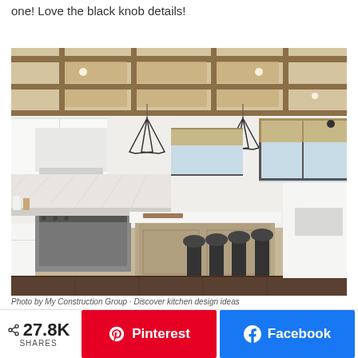one! Love the black knob details!
[Figure (photo): Beautiful farmhouse-style kitchen with white cabinets, large island with white countertop and dark barstools, stainless steel range, geometric pendant lights, coffered wood ceiling, and dark hardwood floors.]
Photo by My Construction Group · Discover kitchen design ideas
27.8K SHARES
Pinterest
Facebook